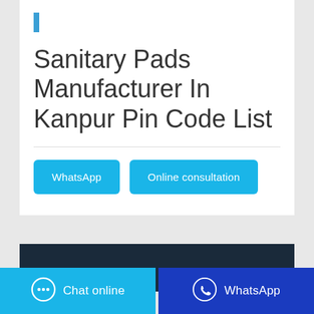Sanitary Pads Manufacturer In Kanpur Pin Code List
WhatsApp
Online consultation
[Figure (photo): Dark background image partially visible at bottom of second card]
Chat online
WhatsApp